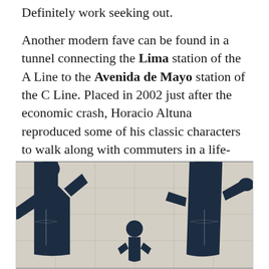Definitely work seeking out.
Another modern fave can be found in a tunnel connecting the Lima station of the A Line to the Avenida de Mayo station of the C Line. Placed in 2002 just after the economic crash, Horacio Altuna reproduced some of his classic characters to walk along with commuters in a life-size mural & made some interesting social commentary:
[Figure (photo): A tile mural artwork showing large comic-style figures in dark navy blue on a cream/white tiled background. The figures appear to be life-size characters by Horacio Altuna, depicting people walking in a subway tunnel. The style is bold graphic/comic book illustration with strong outlines.]